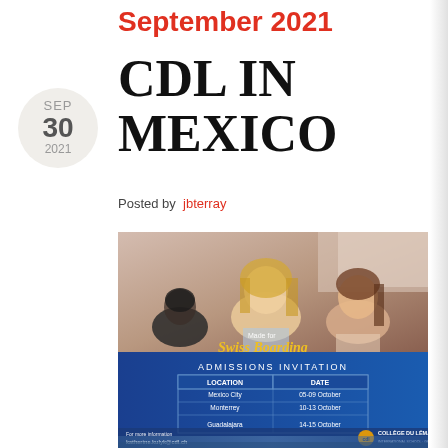September 2021
CDL IN MEXICO
Posted by jbterray
[Figure (illustration): Collège du Léman admissions invitation flyer for Mexico showing students in a classroom, 'Made for Swiss Boarding' text, admissions invitation table with Mexico City (05-09 October), Monterrey (10-13 October), Guadalajara (14-15 October), contact katherine.kulyk@cdl.ch, and College du Leman logo at bottom.]